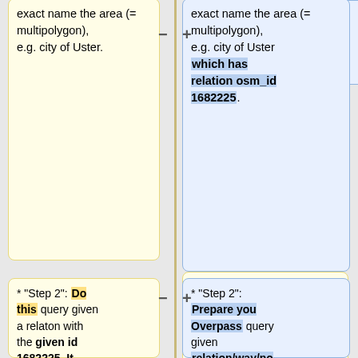exact name the area (= multipolygon), e.g. city of Uster.
exact name the area (= multipolygon), e.g. city of Uster which has relation osm_id 1682225.
* "Step 2": Do this query given a relaton with the given id 1682225. It works also type=node, type=way. Choose your region and hit the Run button above!
* "Step 2": Prepare you Overpass query given relation/way/node and the osm_od (here: relation osm_id 1682225 for Uster), then either use the first query in a browser or start Overpass Turbo and use the